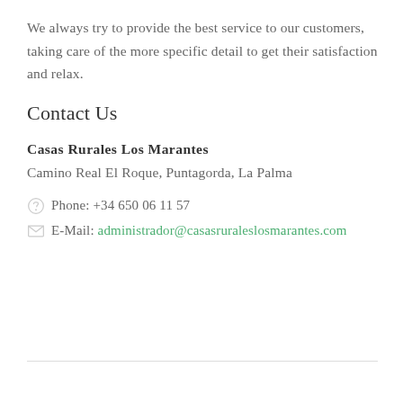We always try to provide the best service to our customers, taking care of the more specific detail to get their satisfaction and relax.
Contact Us
Casas Rurales Los Marantes
Camino Real El Roque, Puntagorda, La Palma
Phone: +34 650 06 11 57
E-Mail: administrador@casasruraleslosmarantes.com